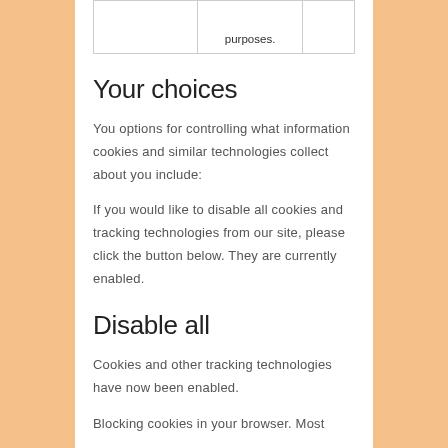|  |  |  |
| --- | --- | --- |
|  |  | purposes. |
Your choices
You options for controlling what information cookies and similar technologies collect about you include:
If you would like to disable all cookies and tracking technologies from our site, please click the button below. They are currently enabled.
Disable all
Cookies and other tracking technologies have now been enabled.
Blocking cookies in your browser. Most